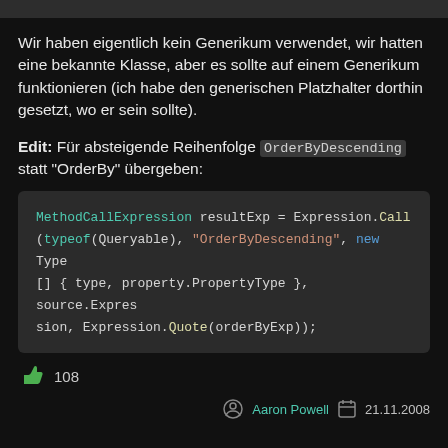Wir haben eigentlich kein Generikum verwendet, wir hatten eine bekannte Klasse, aber es sollte auf einem Generikum funktionieren (ich habe den generischen Platzhalter dorthin gesetzt, wo er sein sollte).
Edit: Für absteigende Reihenfolge OrderByDescending statt "OrderBy" übergeben:
[Figure (screenshot): Code block showing: MethodCallExpression resultExp = Expression.Call(typeof(Queryable), "OrderByDescending", new Type [] { type, property.PropertyType }, source.Expression, Expression.Quote(orderByExp));]
👍 108
Aaron Powell  21.11.2008